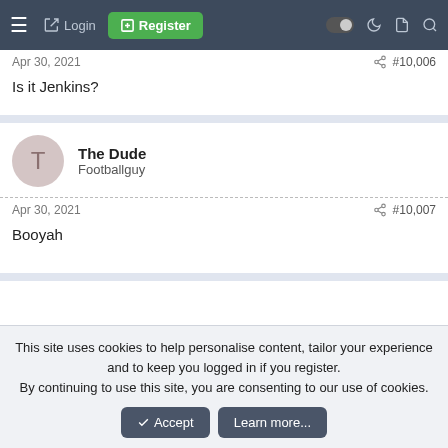Login  Register
Apr 30, 2021  #10,006
Is it Jenkins?
The Dude
Footballguy
Apr 30, 2021  #10,007
Booyah
This site uses cookies to help personalise content, tailor your experience and to keep you logged in if you register.
By continuing to use this site, you are consenting to our use of cookies.
Accept  Learn more...